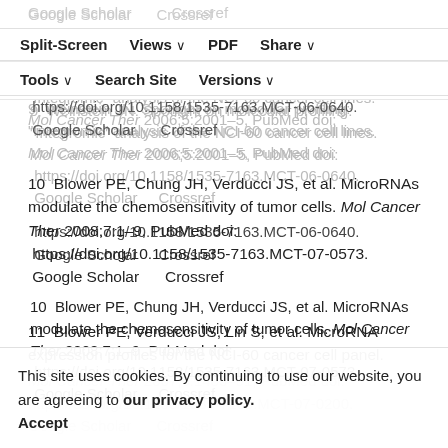Split-Screen  Views  PDF  Share  Tools  Search Site  Versions
9  Weinstein JN. Spotlight on molecular profiling: "Integromic" analysis of the NCI-60 cancer cell lines. Mol Cancer Ther 2006;5:2001–5, PubMed doi: https://doi.org/10.1158/1535-7163.MCT-06-0640. Google Scholar  Crossref
10  Blower PE, Chung JH, Verducci JS, et al. MicroRNAs modulate the chemosensitivity of tumor cells. Mol Cancer Ther 2008;7:1–9, PubMed doi: https://doi.org/10.1158/1535-7163.MCT-07-0573. Google Scholar  Crossref
11  Blower PE, Verducci JS, Lin S, et al. MicroRNA expression profiles for the NCI-60 cancer cell panel. Mol Cancer Ther 2007;6:1483–91, PubMed doi: https://doi.org/10.1158/1535-7163.MCT-07-0200. Google Scholar  Crossref
This site uses cookies. By continuing to use our website, you are agreeing to our privacy policy. Accept